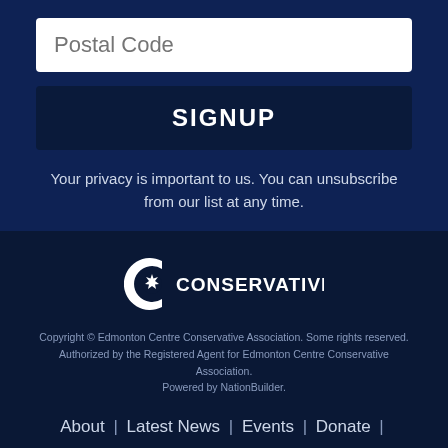[Figure (other): Postal Code input field (white rounded rectangle with placeholder text)]
[Figure (other): SIGNUP button (dark navy rounded rectangle with white bold text)]
Your privacy is important to us. You can unsubscribe from our list at any time.
[Figure (logo): Conservative Party of Canada logo — white C with maple leaf and CONSERVATIVE text]
Copyright © Edmonton Centre Conservative Association. Some rights reserved. Authorized by the Registered Agent for Edmonton Centre Conservative Association. Powered by NationBuilder.
About  |  Latest News  |  Events  |  Donate  |  Join the CPC  |  Contact  |  Home